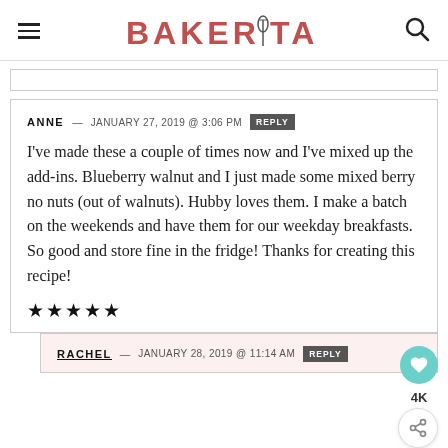BAKERITA
ANNE — JANUARY 27, 2019 @ 3:06 PM  REPLY
I've made these a couple of times now and I've mixed up the add-ins. Blueberry walnut and I just made some mixed berry no nuts (out of walnuts). Hubby loves them. I make a batch on the weekends and have them for our weekday breakfasts. So good and store fine in the fridge! Thanks for creating this recipe!
★★★★★
RACHEL — JANUARY 28, 2019 @ 11:14 AM  REPLY